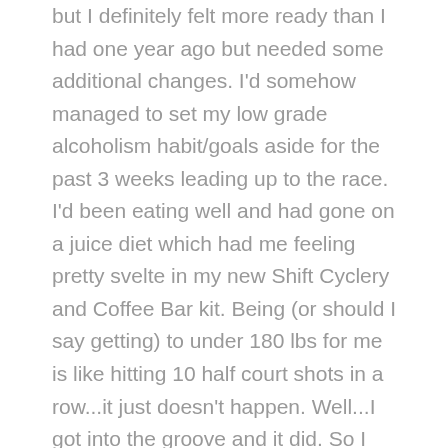but I definitely felt more ready than I had one year ago but needed some additional changes.  I'd somehow managed to set my low grade alcoholism habit/goals aside for the past 3 weeks leading up to the race.  I'd been eating well and had gone on a juice diet which had me feeling pretty svelte in my new Shift Cyclery and Coffee Bar kit.  Being (or should I say getting) to under 180 lbs for me is like hitting 10 half court shots in a row...it just doesn't happen.  Well...I got into the groove and it did.  So I was feeling pretty good about the climbing and how much energy it would drain from me.